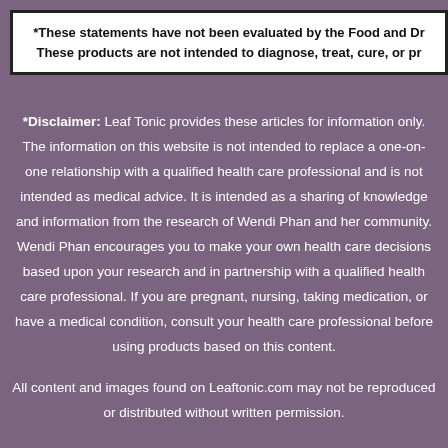*These statements have not been evaluated by the Food and Dr... These products are not intended to diagnose, treat, cure, or pr...
*Disclaimer: Leaf Tonic provides these articles for information only. The information on this website is not intended to replace a one-on-one relationship with a qualified health care professional and is not intended as medical advice. It is intended as a sharing of knowledge and information from the research of Wendi Phan and her community. Wendi Phan encourages you to make your own health care decisions based upon your research and in partnership with a qualified health care professional. If you are pregnant, nursing, taking medication, or have a medical condition, consult your health care professional before using products based on this content.
All content and images found on Leaftonic.com may not be reproduced or distributed without written permission.